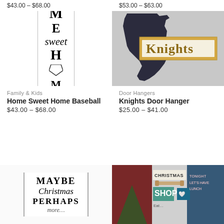$43.00 – $68.00
$53.00 – $63.00
[Figure (photo): Vertical white wooden sign with baseball theme, letters M, E, 'sweet', H, home plate shape, and M stacked vertically with vertical border lines]
[Figure (photo): Florida state silhouette in dark/black color with a wooden sign reading 'Knights' mounted on it]
Family & Kids
Home Sweet Home Baseball
$43.00 – $68.00
Door Hangers
Knights Door Hanger
$25.00 – $41.00
[Figure (photo): White sign with text 'MAYBE Christmas PERHAPS more' in mixed serif styles]
[Figure (photo): Christmas shop scene with signs reading CHRISTMAS, SHOP, and other holiday text, colorful display]